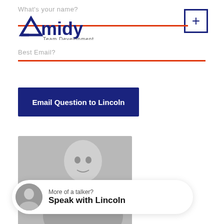What's your name?
[Figure (logo): Amidy Team Development logo with orange line and blue plus button]
Best Email?
Email Question to Lincoln
[Figure (photo): Black and white photo of a man (Lincoln), with a speak card overlay showing a smaller circular avatar photo and text 'More of a talker? Speak with Lincoln']
More of a talker? Speak with Lincoln